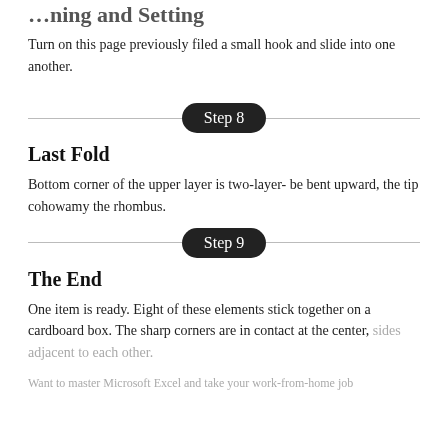…ning and Setting
Turn on this page previously filed a small hook and slide into one another.
Step 8
Last Fold
Bottom corner of the upper layer is two-layer- be bent upward, the tip cohowamy the rhombus.
Step 9
The End
One item is ready. Eight of these elements stick together on a cardboard box. The sharp corners are in contact at the center, sides adjacent to each other.
Want to master Microsoft Excel and take your work-from-home job